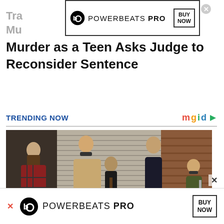[Figure (other): Powerbeats Pro advertisement banner at top with Beats logo, 'POWERBEATS PRO' text and 'BUY NOW' box]
Tra... Mu... Murder as a Teen Asks Judge to Reconsider Sentence
TRENDING NOW
[Figure (photo): Five-member rock band posed in front of a metal shutter/blind and brick wall]
[Figure (other): Powerbeats Pro advertisement banner at bottom with Beats logo, 'POWERBEATS PRO' text and 'BUY NOW' box]